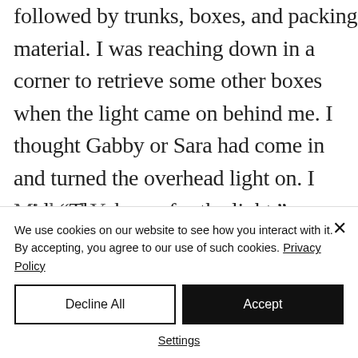followed by trunks, boxes, and packing material. I was reaching down in a corner to retrieve some other boxes when the light came on behind me. I thought Gabby or Sara had come in and turned the overhead light on. I said, “Thank you for the light.”
Michael Y...
We use cookies on our website to see how you interact with it. By accepting, you agree to our use of such cookies. Privacy Policy
Decline All
Accept
Settings